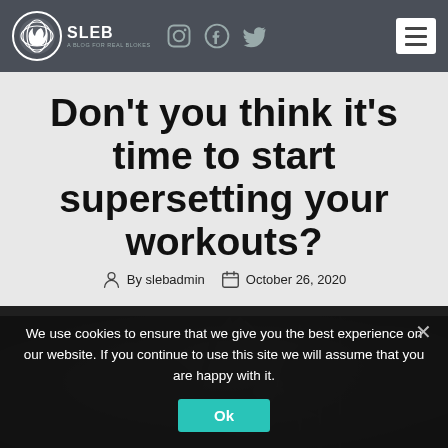SLEB - A Blog for Real Blokes (navigation bar with social icons)
Don't you think it's time to start supersetting your workouts?
By slebadmin   October 26, 2020
[Figure (photo): Dark atmospheric photo of a muscular person's arm/fist, with dramatic lighting and smoke effect]
We use cookies to ensure that we give you the best experience on our website. If you continue to use this site we will assume that you are happy with it.